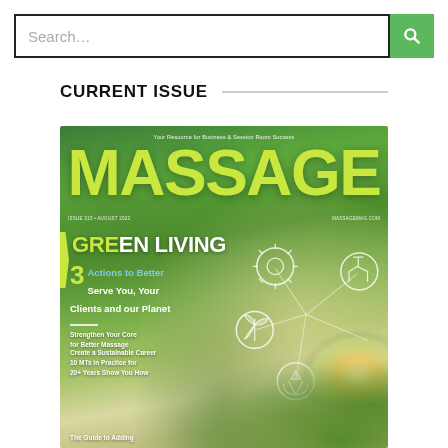[Figure (screenshot): Search bar with text 'Search…' and a green search button with a magnifying glass icon]
CURRENT ISSUE
[Figure (photo): Magazine cover of MASSAGE magazine, Issue 315, August 2022. Tagline: 'Your Resource for Business & Session Room Success'. massagemag.com. Features GREEN LIVING headline with '3 Actions to Better Serve You, Your Clients and our Planet', 'Strengthen Your Core for Better Massage', 'Create a Sustainable Career 10 MTs in Practice for 20+ Years Show You How', 'The Guide to Adding'. Background shows green nature/leaves with glowing orb and connected icons network.]